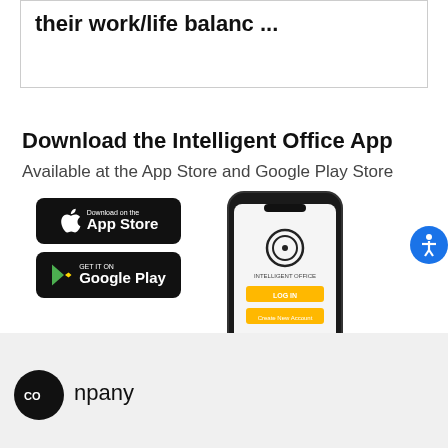their work/life balanc ...
Download the Intelligent Office App
Available at the App Store and Google Play Store
[Figure (screenshot): App Store download button (black rounded rectangle with Apple logo and 'Download on the App Store' text)]
[Figure (screenshot): Google Play download button (black rounded rectangle with Google Play logo and 'GET IT ON Google Play' text)]
[Figure (screenshot): Phone mockup showing Intelligent Office app login screen with logo, Login button (yellow), Create New Account button (yellow)]
[Figure (illustration): Blue circular accessibility icon button on right edge]
npany
[Figure (logo): Black circular badge with 'CO' text inside]